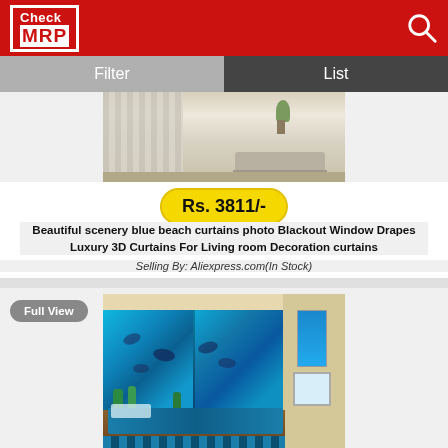Check MRP
Filter
List
[Figure (photo): Room interior with curtains and sofa — product listing image]
Rs. 3811/-
Beautiful scenery blue beach curtains photo Blackout Window Drapes Luxury 3D Curtains For Living room Decoration curtains
Selling By: Aliexpress.com(In Stock)
Full View
[Figure (photo): Bedroom scene with ocean/dolphin themed 3D curtains in blue, with a bed and room decor]